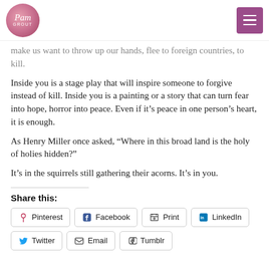Pam Grout [logo] [menu]
make us want to throw up our hands, flee to foreign countries, to kill.
Inside you is a stage play that will inspire someone to forgive instead of kill. Inside you is a painting or a story that can turn fear into hope, horror into peace. Even if it’s peace in one person’s heart, it is enough.
As Henry Miller once asked, “Where in this broad land is the holy of holies hidden?”
It’s in the squirrels still gathering their acorns. It’s in you.
Share this:
Pinterest
Facebook
Print
LinkedIn
Twitter
Email
Tumblr